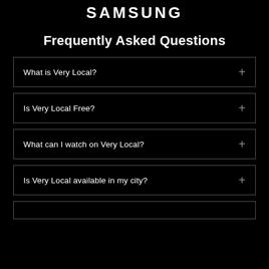SAMSUNG
Frequently Asked Questions
What is Very Local?
Is Very Local Free?
What can I watch on Very Local?
Is Very Local available in my city?